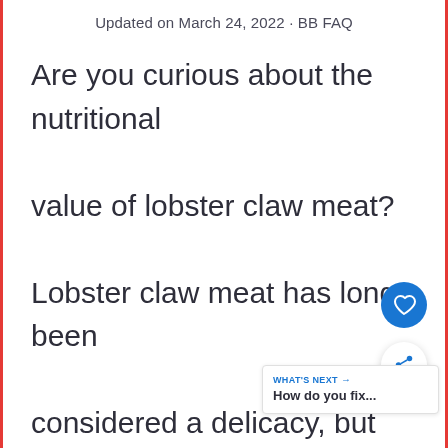Updated on March 24, 2022 · BB FAQ
Are you curious about the nutritional value of lobster claw meat? Lobster claw meat has long been considered a delicacy, but recent studies explain that it may also be goo